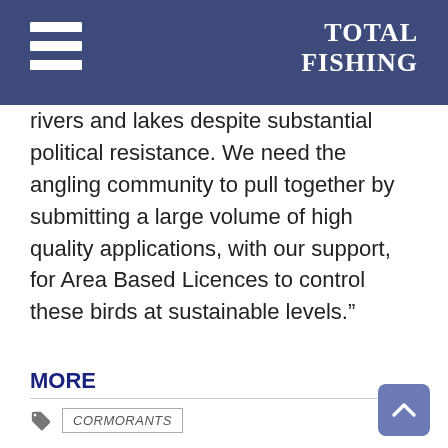TOTAL FISHING
rivers and lakes despite substantial political resistance. We need the angling community to pull together by submitting a large volume of high quality applications, with our support, for Area Based Licences to control these birds at sustainable levels.”
MORE
CORMORANTS